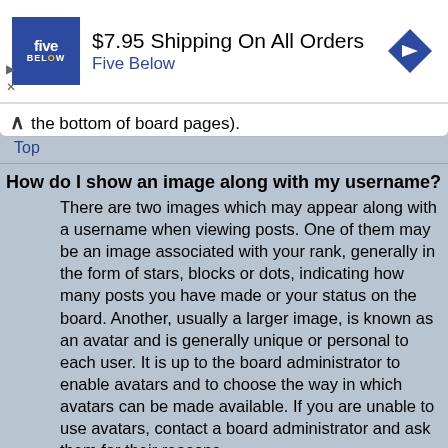[Figure (screenshot): Advertisement banner for Five Below showing '$7.95 Shipping On All Orders' with blue Five Below logo and navigation arrow icon]
the bottom of board pages).
Top
How do I show an image along with my username?
There are two images which may appear along with a username when viewing posts. One of them may be an image associated with your rank, generally in the form of stars, blocks or dots, indicating how many posts you have made or your status on the board. Another, usually a larger image, is known as an avatar and is generally unique or personal to each user. It is up to the board administrator to enable avatars and to choose the way in which avatars can be made available. If you are unable to use avatars, contact a board administrator and ask them for their reasons.
Top
What is my rank and how do I change it?